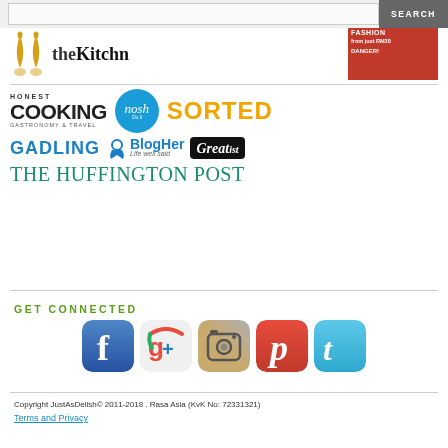[Figure (screenshot): Website header with search bar and SEARCH button]
[Figure (infographic): Collection of food/lifestyle brand logos: theKitchn, fashion magazine ad, Honest Cooking Gastronomy & Travel, Nosh, SORTED, GADLING, BlogHer Life well said, Greatist, The Huffington Post]
GET CONNECTED
[Figure (infographic): Social media icons: Facebook, Google+, Instagram, Pinterest, Twitter]
Copyright JustAsDelish© 2011-2018 . Rasa Asia (KvK No: 72331321)
Terms and Privacy